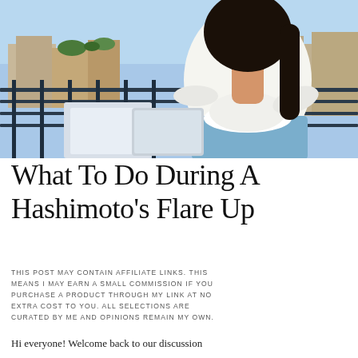[Figure (photo): A woman standing on a balcony wearing a white tied shirt and light blue high-waisted flare jeans, holding a laptop, with urban rooftop and blue sky in background.]
What To Do During A Hashimoto’s Flare Up
THIS POST MAY CONTAIN AFFILIATE LINKS. THIS MEANS I MAY EARN A SMALL COMMISSION IF YOU PURCHASE A PRODUCT THROUGH MY LINK AT NO EXTRA COST TO YOU. ALL SELECTIONS ARE CURATED BY ME AND OPINIONS REMAIN MY OWN.
Hi everyone! Welcome back to our discussion